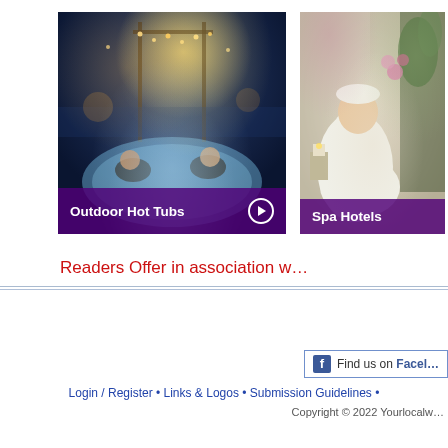[Figure (photo): Two people in an outdoor hot tub at dusk with string lights and a pergola in the background. Caption overlay reads 'Outdoor Hot Tubs' with a play button.]
[Figure (photo): Person in white robe relaxing at a spa with flowers and greenery. Caption overlay reads 'Spa Hotels'.]
Readers Offer in association w…
[Figure (logo): Facebook 'Find us on Facebook' button/badge]
Login / Register • Links & Logos • Submission Guidelines •
Copyright © 2022 Yourlocalw…